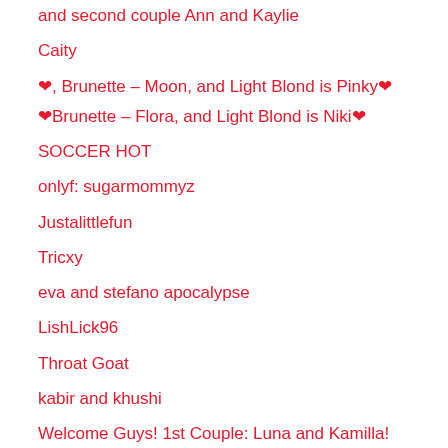and second couple Ann and Kaylie
Caity
❤, Brunette – Moon, and Light Blond is Pinky❤
❤Brunette – Flora, and Light Blond is Niki❤
SOCCER HOT
onlyf: sugarmommyz
Justalittlefun
Tricxy
eva and stefano apocalypse
LishLick96
Throat Goat
kabir and khushi
Welcome Guys! 1st Couple: Luna and Kamilla!